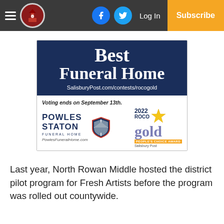Salisbury Post navigation bar with hamburger menu, logo, Facebook and Twitter icons, Log In, Subscribe
[Figure (advertisement): Powles Staton Funeral Home advertisement: 'Best Funeral Home' on dark navy background, SalisburyPost.com/contests/rocogold, 'Voting ends on September 13th.', Powles Staton Funeral Home logo with shield crest, PowlesFuneralHome.com, 2022 ROCO gold People's Choice Award Salisbury Post logo]
Last year, North Rowan Middle hosted the district pilot program for Fresh Artists before the program was rolled out countywide.